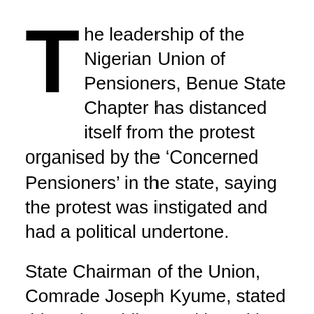The leadership of the Nigerian Union of Pensioners, Benue State Chapter has distanced itself from the protest organised by the 'Concerned Pensioners' in the state, saying the protest was instigated and had a political undertone.
State Chairman of the Union, Comrade Joseph Kyume, stated this today while speaking with journalists shortly after he led a delegation to present the position of the Union to Governor Samuel Ortom at the Benue Peoples House Makurdi.
Comrade Kyume said the Union had held talks